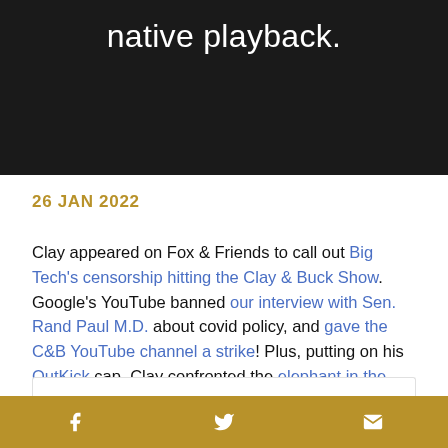[Figure (other): Dark banner with white text reading 'native playback.']
26 JAN 2022
Clay appeared on Fox & Friends to call out Big Tech's censorship hitting the Clay & Buck Show. Google's YouTube banned our interview with Sen. Rand Paul M.D. about covid policy, and gave the C&B YouTube channel a strike! Plus, putting on his OutKick cap, Clay confronted the elephant in the room at the Baseball Hall of Fame.
f  [twitter bird]  [mail]